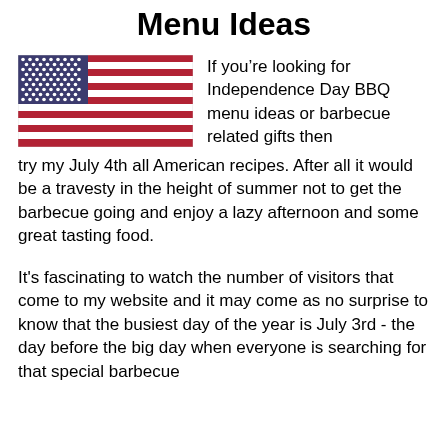Menu Ideas
[Figure (illustration): American flag (US flag) with blue canton with white stars and red and white stripes]
If you're looking for Independence Day BBQ menu ideas or barbecue related gifts then try my July 4th all American recipes. After all it would be a travesty in the height of summer not to get the barbecue going and enjoy a lazy afternoon and some great tasting food.
It's fascinating to watch the number of visitors that come to my website and it may come as no surprise to know that the busiest day of the year is July 3rd - the day before the big day when everyone is searching for that special barbecue